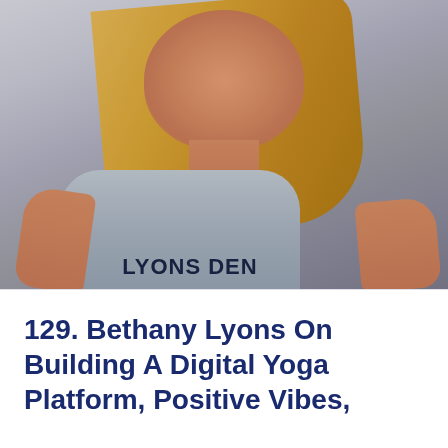[Figure (photo): Photo of a blonde woman wearing a gray ribbed tank top with 'LYONS DEN' text printed on it, looking toward the camera. Background is light gray.]
129. Bethany Lyons On Building A Digital Yoga Platform, Positive Vibes,